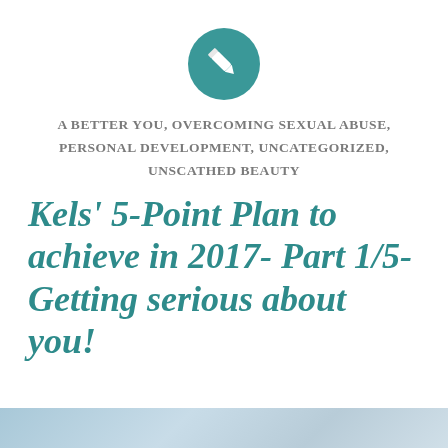[Figure (illustration): Teal circle icon with a white pencil/edit symbol in the center]
A BETTER YOU, OVERCOMING SEXUAL ABUSE, PERSONAL DEVELOPMENT, UNCATEGORIZED, UNSCATHED BEAUTY
Kels' 5-Point Plan to achieve in 2017- Part 1/5- Getting serious about you!
[Figure (photo): Partial blue/grey textured image at the bottom of the page]